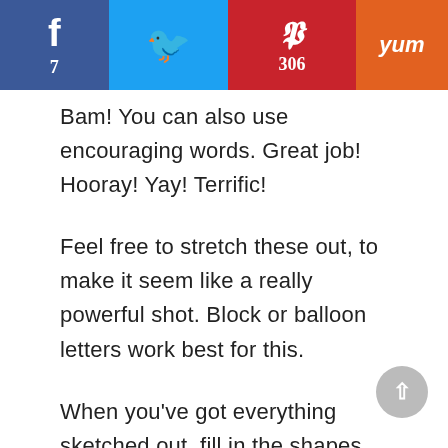[Figure (screenshot): Social sharing bar with Facebook (7 shares), Twitter, Pinterest (306 pins), and Yummly buttons]
Bam! You can also use encouraging words. Great job! Hooray! Yay! Terrific!
Feel free to stretch these out, to make it seem like a really powerful shot. Block or balloon letters work best for this.
When you've got everything sketched out, fill in the shapes and letters. To keep a clean, graphic look, use one color for each shape. (If you want to add more